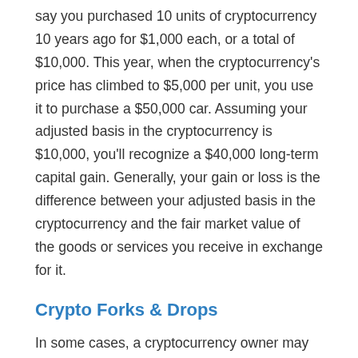say you purchased 10 units of cryptocurrency 10 years ago for $1,000 each, or a total of $10,000. This year, when the cryptocurrency's price has climbed to $5,000 per unit, you use it to purchase a $50,000 car. Assuming your adjusted basis in the cryptocurrency is $10,000, you'll recognize a $40,000 long-term capital gain. Generally, your gain or loss is the difference between your adjusted basis in the cryptocurrency and the fair market value of the goods or services you receive in exchange for it.
Crypto Forks & Drops
In some cases, a cryptocurrency owner may recognize taxable income because of certain